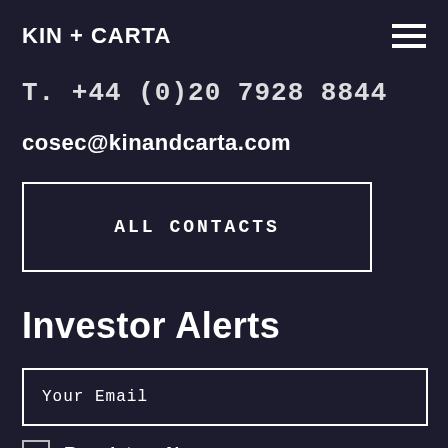KIN + CARTA
T. +44 (0)20 7928 8844
cosec@kinandcarta.com
ALL CONTACTS
Investor Alerts
Your Email
Regulatory News